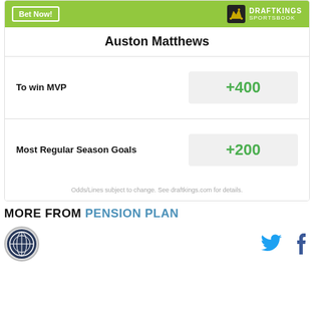[Figure (other): DraftKings Sportsbook betting widget for Auston Matthews showing MVP odds +400 and Most Regular Season Goals odds +200]
MORE FROM PENSION PLAN
[Figure (logo): Pension Plan Puppets site logo circle and social media icons (Twitter, Facebook)]